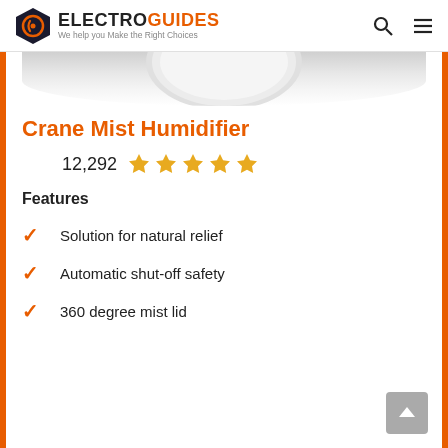ELECTROGUIDES — We help you Make the Right Choices
[Figure (illustration): Bottom portion of a white humidifier product image on a light gray background]
Crane Mist Humidifier
12,292 ★★★★★
Features
Solution for natural relief
Automatic shut-off safety
360 degree mist lid